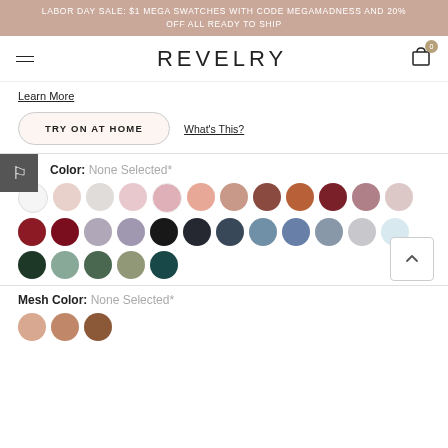LABOR DAY SALE: $1 MEGA SWATCHES WITH CODE MEGAMADNESS AND 20% OFF ALL READY TO SHIP
[Figure (screenshot): Revelry website navigation bar with hamburger menu, REVELRY logo, and cart icon with badge showing 0]
Learn More
TRY ON AT HOME
What's This?
Color: None Selected*
[Figure (illustration): Grid of color swatches - row 1: white, blush, light grey, light pink, pink, pink-orange, dusty rose, brown, terracotta, dark red/burgundy, mauve, light pink; row 2: dark red, crimson, lilac-grey, mauve-purple, black, charcoal, slate blue, steel blue, periwinkle, grey-blue, light grey, light blue; row 3: dark green, sage, forest green, olive-sage, dark teal]
Mesh Color: None Selected*
[Figure (illustration): Three mesh color swatches: light peach, peach-tan, dark tan/brown]